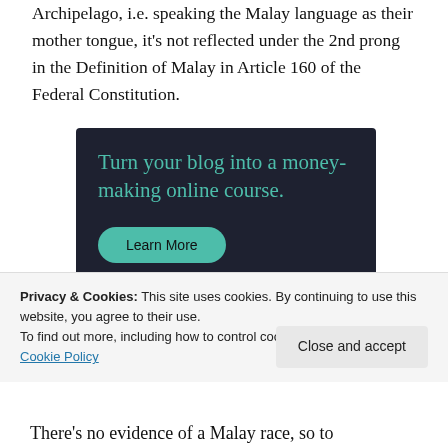Archipelago, i.e. speaking the Malay language as their mother tongue, it's not reflected under the 2nd prong in the Definition of Malay in Article 160 of the Federal Constitution.
[Figure (infographic): Dark banner advertisement with teal text reading 'Turn your blog into a money-making online course.' with a teal 'Learn More' button.]
Privacy & Cookies: This site uses cookies. By continuing to use this website, you agree to their use.
To find out more, including how to control cookies, see here:
Cookie Policy
Close and accept
There's no evidence of a Malay race, so to